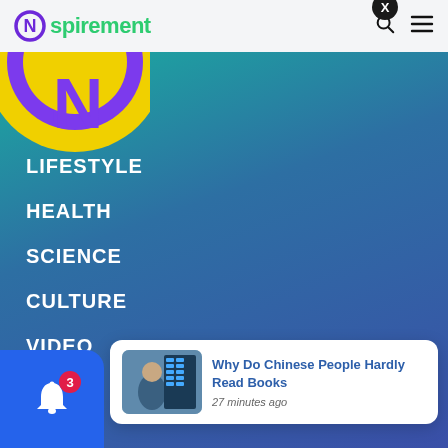Nspirement
[Figure (logo): Nspirement logo circle in yellow and purple, partially visible at top-left of navigation menu area]
LIFESTYLE
HEALTH
SCIENCE
CULTURE
VIDEO
INA
[Figure (screenshot): Article notification card showing 'Why Do Chinese People Hardly Read Books' with thumbnail image of person looking at screens, 27 minutes ago]
Why Do Chinese People Hardly Read Books
27 minutes ago